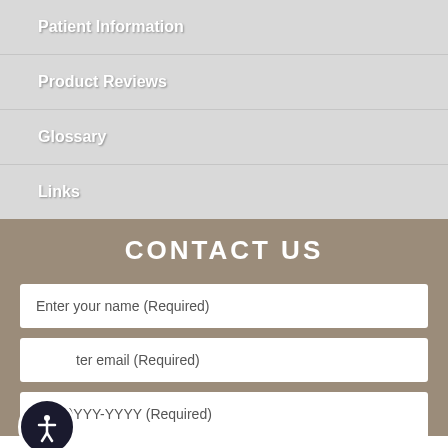Patient Information
Product Reviews
Glossary
Links
CONTACT US
Enter your name (Required)
ter email (Required)
(YYY)YYY-YYYY (Required)